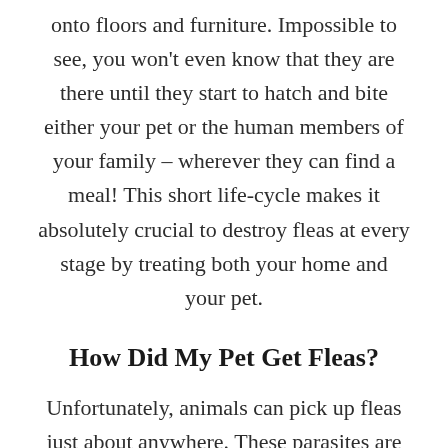onto floors and furniture. Impossible to see, you won't even know that they are there until they start to hatch and bite either your pet or the human members of your family – wherever they can find a meal! This short life-cycle makes it absolutely crucial to destroy fleas at every stage by treating both your home and your pet.
How Did My Pet Get Fleas?
Unfortunately, animals can pick up fleas just about anywhere. These parasites are